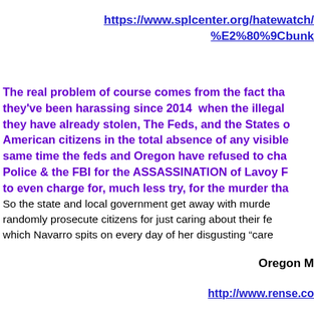https://www.splcenter.org/hatewatch/%E2%80%9Cbunk
The real problem of course comes from the fact that they've been harassing since 2014 when the illegal they have already stolen, The Feds, and the States of American citizens in the total absence of any visible same time the feds and Oregon have refused to charge Police & the FBI for the ASSASSINATION of Lavoy F to even charge for, much less try, for the murder tha
So the state and local government get away with murder randomly prosecute citizens for just caring about their fe which Navarro spits on every day of her disgusting "car
Oregon M
http://www.rense.co